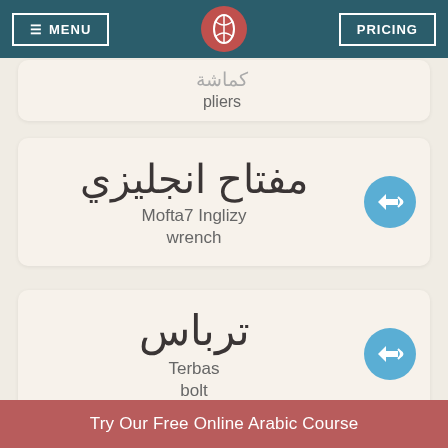MENU | [logo] | PRICING
Kamasha
pliers
مفتاح انجليزي
Mofta7 Inglizy
wrench
ترباس
Terbas
bolt
Try Our Free Online Arabic Course